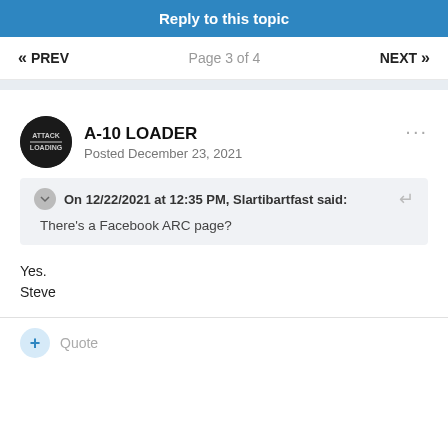Reply to this topic
« PREV   Page 3 of 4   NEXT »
A-10 LOADER
Posted December 23, 2021
On 12/22/2021 at 12:35 PM, Slartibartfast said:
There's a Facebook ARC page?
Yes.
Steve
+ Quote